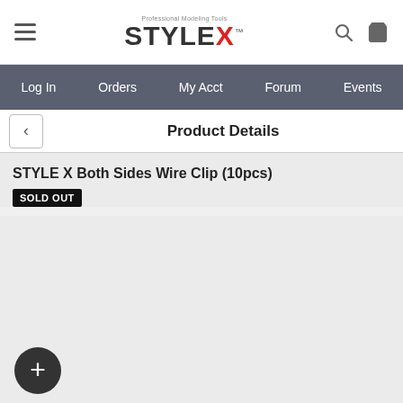STYLE X — Professional Modeling Tools
Log In | Orders | My Acct | Forum | Events
Product Details
STYLE X Both Sides Wire Clip (10pcs)
SOLD OUT
|  |  |
| --- | --- |
| Price | $7.27 |
| Shipping Method | Parcel Service |